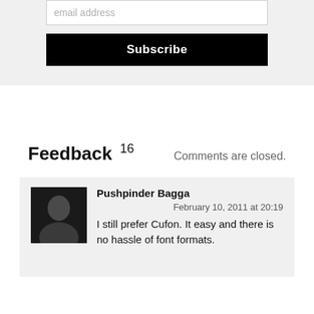email address
Subscribe
Feedback 16
Comments are closed.
Pushpinder Bagga
February 10, 2011 at 20:19
I still prefer Cufon. It easy and there is no hassle of font formats.